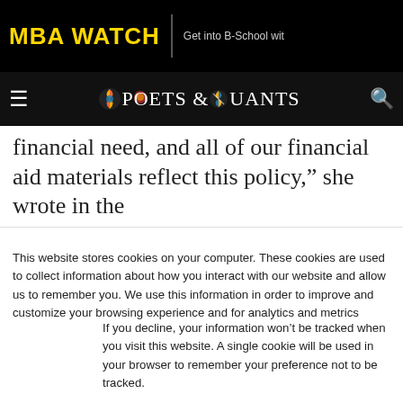MBA WATCH | Get into B-School wit
[Figure (logo): Poets & Quants logo with navigation bar on dark background]
financial need, and all of our financial aid materials reflect this policy,” she wrote in the
This website stores cookies on your computer. These cookies are used to collect information about how you interact with our website and allow us to remember you. We use this information in order to improve and customize your browsing experience and for analytics and metrics about our visitors both on this website and other media. To find out more about the cookies we use, see our Privacy Policy.
If you decline, your information won’t be tracked when you visit this website. A single cookie will be used in your browser to remember your preference not to be tracked.